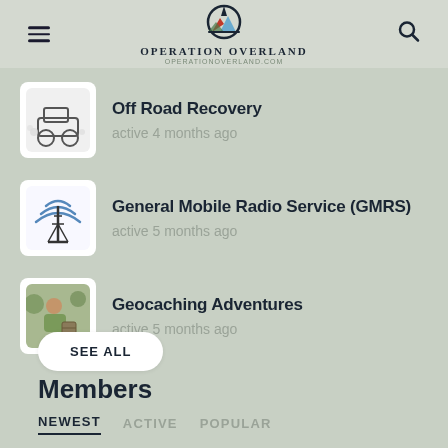Operation Overland
Off Road Recovery
active 4 months ago
General Mobile Radio Service (GMRS)
active 5 months ago
Geocaching Adventures
active 5 months ago
SEE ALL
Members
NEWEST  ACTIVE  POPULAR